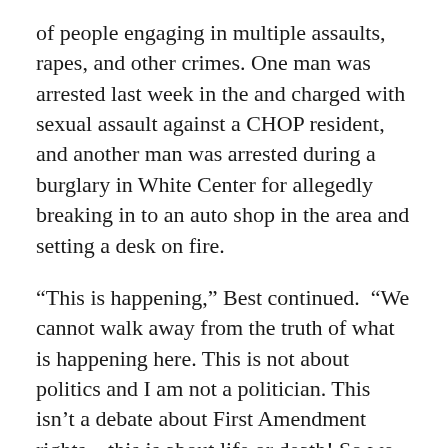of people engaging in multiple assaults, rapes, and other crimes. One man was arrested last week in the and charged with sexual assault against a CHOP resident, and another man was arrested during a burglary in White Center for allegedly breaking in to an auto shop in the area and setting a desk on fire.
“This is happening,” Best continued. “We cannot walk away from the truth of what is happening here. This is not about politics and I am not a politician. This isn’t a debate about First Amendment rights—this is about life or death! So we need a plan. The council legislated away officers’ access to less lethal weapons,” Best continued—not mentioning that the legislation barring these weapons is not in effect yet —leaving officers with no options beside “a riot